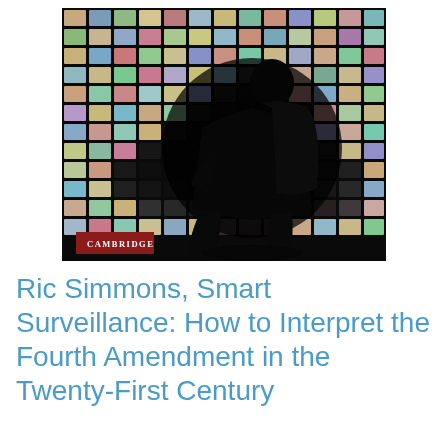[Figure (photo): Book cover showing a silhouetted person sitting in a chair facing a large wall of illuminated surveillance monitors/screens in a dark room. Cambridge University Press logo in bottom left corner.]
Ric Simmons, Smart Surveillance: How to Interpret the Fourth Amendment in the Twenty-First Century